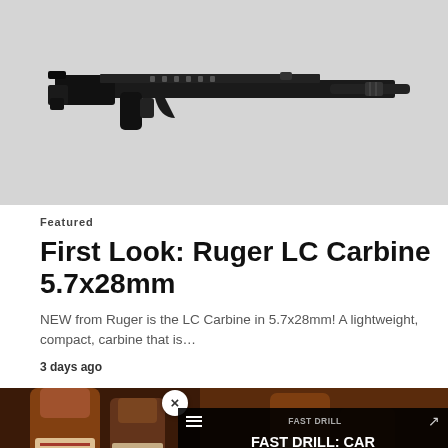[Figure (photo): Photo of a Ruger LC Carbine 5.7x28mm rifle against a light background]
Featured
First Look: Ruger LC Carbine 5.7x28mm
NEW from Ruger is the LC Carbine in 5.7x28mm! A lightweight, compact, carbine that is…
3 days ago
[Figure (photo): Photo of whiskey bottles and glasses with amber liquid; video player overlay showing 'FAST DRILL: CAR' title and 'Uh oh, something went wrong' error message with playback controls at 0:00]